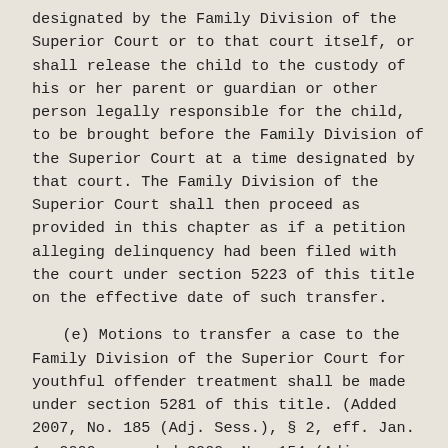designated by the Family Division of the Superior Court or to that court itself, or shall release the child to the custody of his or her parent or guardian or other person legally responsible for the child, to be brought before the Family Division of the Superior Court at a time designated by that court. The Family Division of the Superior Court shall then proceed as provided in this chapter as if a petition alleging delinquency had been filed with the court under section 5223 of this title on the effective date of such transfer.

(e) Motions to transfer a case to the Family Division of the Superior Court for youthful offender treatment shall be made under section 5281 of this title. (Added 2007, No. 185 (Adj. Sess.), § 2, eff. Jan. 1, 2009; amended 2009, No. 154 (Adj. Sess.), §§ 226, 238; 2011, No. 159 (Adj. Sess.), § 3; 2015, No. 153 (Adj.